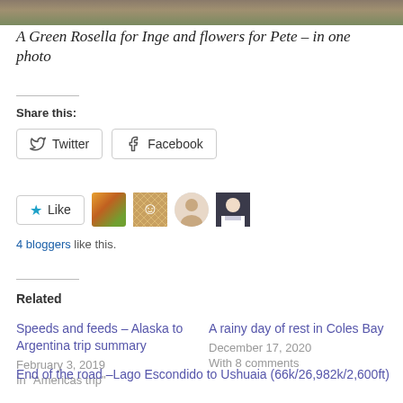[Figure (photo): Partial view of a nature/bird photograph at the top of the page]
A Green Rosella for Inge and flowers for Pete – in one photo
Share this:
[Figure (screenshot): Twitter and Facebook share buttons]
[Figure (screenshot): Like button with star icon and 4 blogger avatar thumbnails]
4 bloggers like this.
Related
Speeds and feeds – Alaska to Argentina trip summary
February 3, 2019
In "Americas trip"
A rainy day of rest in Coles Bay
December 17, 2020
With 8 comments
End of the road –Lago Escondido to Ushuaia (66k/26,982k/2,600ft)